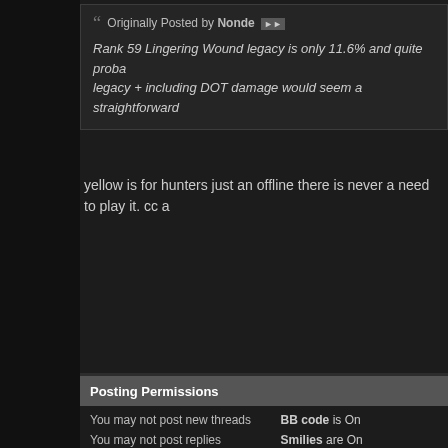Originally Posted by Nonde
Rank 59 Lingering Wound legacy is only 11.6% and quite proba legacy + including DOT damage would seem a straightforward
yellow is for hunters just an offline there is never a need to play it. cc a
Posting Permissions
You may not post new threads
You may not post replies
You may not post attachments
You may not edit your posts
BB code is On
Smilies are On
[IMG] code is On
[VIDEO] code is
HTML code is Off
Forum Rules